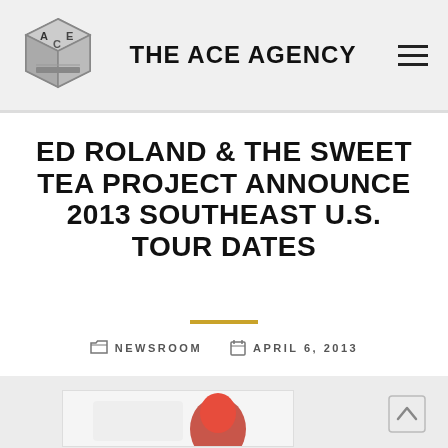THE ACE AGENCY
ED ROLAND & THE SWEET TEA PROJECT ANNOUNCE 2013 SOUTHEAST U.S. TOUR DATES
NEWSROOM  APRIL 6, 2013
[Figure (photo): Red image/photo preview at bottom of page]